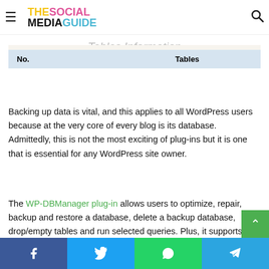THE SOCIAL MEDIA GUIDE
Tables Information
| No. | Tables |
| --- | --- |
Backing up data is vital, and this applies to all WordPress users because at the very core of every blog is its database. Admittedly, this is not the most exciting of plug-ins but it is one that is essential for any WordPress site owner.
The WP-DBManager plug-in allows users to optimize, repair, backup and restore a database, delete a backup database, drop/empty tables and run selected queries. Plus, it supports the automatic scheduling of backing up and optimizing of a database. This means users can set it and go knowing that